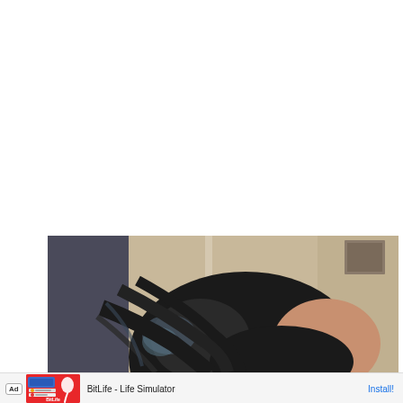[Figure (photo): A person with dark black hair viewed from above/side, indoors with curtains and a framed picture visible in the background. The photo is cropped to show only the top of the head.]
[Figure (screenshot): Mobile advertisement banner for 'BitLife - Life Simulator' app. Shows Ad badge, colorful game screenshot thumbnail on red background with sperm icon and BitLife logo, app name 'BitLife - Life Simulator', and 'Install!' button in blue.]